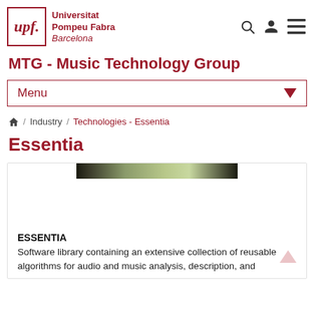[Figure (logo): UPF logo with red border square containing 'upf.' italic text, and 'Universitat Pompeu Fabra Barcelona' text in red beside it]
MTG - Music Technology Group
Menu
🏠 / Industry / Technologies - Essentia
Essentia
[Figure (photo): Partial image strip showing a natural/outdoor scene at top of card]
ESSENTIA
Software library containing an extensive collection of reusable algorithms for audio and music analysis, description, and